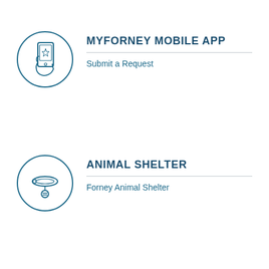[Figure (illustration): Circle icon with hand holding a mobile phone with a star on screen — MyForney Mobile App icon]
MYFORNEY MOBILE APP
Submit a Request
[Figure (illustration): Circle icon with a pet collar and tag — Animal Shelter icon]
ANIMAL SHELTER
Forney Animal Shelter